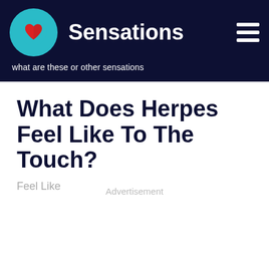Sensations — what are these or other sensations
What Does Herpes Feel Like To The Touch?
Feel Like
Advertisement